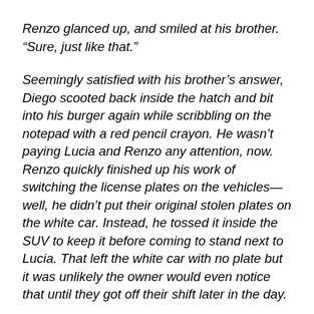Renzo glanced up, and smiled at his brother. “Sure, just like that.”
Seemingly satisfied with his brother’s answer, Diego scooted back inside the hatch and bit into his burger again while scribbling on the notepad with a red pencil crayon. He wasn’t paying Lucia and Renzo any attention, now. Renzo quickly finished up his work of switching the license plates on the vehicles—well, he didn’t put their original stolen plates on the white car. Instead, he tossed it inside the SUV to keep it before coming to stand next to Lucia. That left the white car with no plate but it was unlikely the owner would even notice that until they got off their shift later in the day.
“You sure you don’t want some food?” he asked.